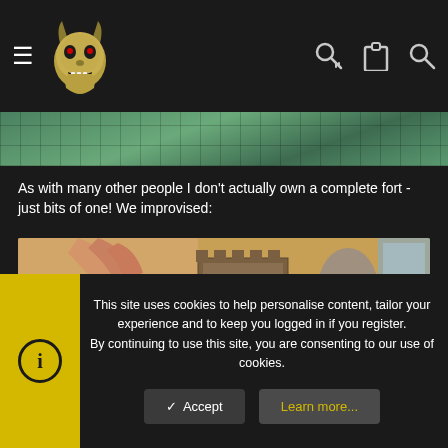Website header with hamburger menu, logo, key icon, clipboard icon, and search icon
[Figure (photo): Top strip showing a green cutting mat surface, partially cropped]
As with many other people I don't actually own a complete fort - just bits of one! We improvised:
[Figure (photo): Photo of a tabletop wargaming setup showing a person's hand placing a miniature near an improvised fort made of terrain pieces - ruined walls, rocky formations, and a tank-like vehicle on a tan/beige surface]
This site uses cookies to help personalise content, tailor your experience and to keep you logged in if you register.
By continuing to use this site, you are consenting to our use of cookies.
✓ Accept
Learn more...